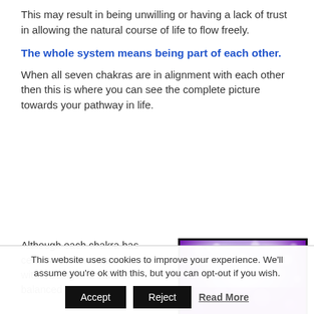This may result in being unwilling or having a lack of trust in allowing the natural course of life to flow freely.
The whole system means being part of each other.
When all seven chakras are in alignment with each other then this is where you can see the complete picture towards your pathway in life.
Although each chakra has certain attributes associated with it being in a state of balanced or
[Figure (photo): A bokeh-style photograph with purple and lavender light particles on a gradient background transitioning from white/silver at the top to vibrant purple at the bottom, with a black border frame.]
This website uses cookies to improve your experience. We'll assume you're ok with this, but you can opt-out if you wish.